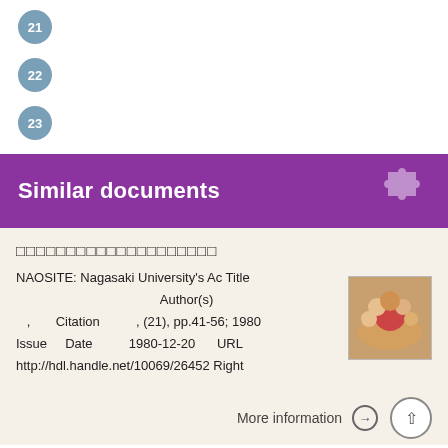21
22
23
Similar documents
□□□□□□□□□□□□□□□□□□□□
NAOSITE: Nagasaki University's Ac Title Author(s) , Citation , (21), pp.41-56; 1980 Issue Date 1980-12-20 URL http://hdl.handle.net/10069/26452 Right
More information